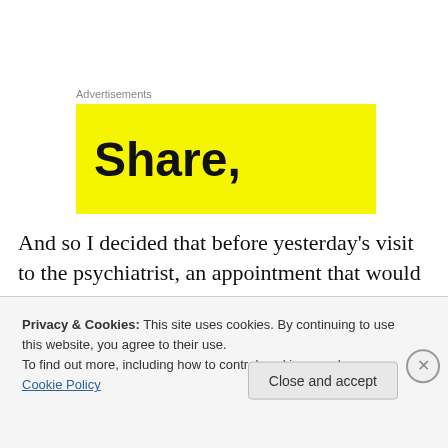Advertisements
[Figure (other): Yellow advertisement banner with bold text 'Share,']
And so I decided that before yesterday's visit to the psychiatrist, an appointment that would mark one whole year of treatment, I would have to bite the bullet and weigh myself. Before commencing meds, I had been required to get a range of physical health checks done, including
Privacy & Cookies: This site uses cookies. By continuing to use this website, you agree to their use.
To find out more, including how to control cookies, see here: Cookie Policy
Close and accept